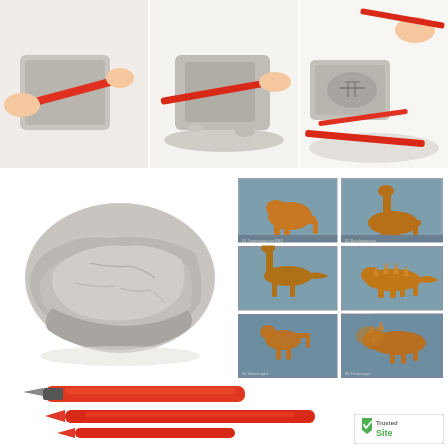[Figure (photo): Three step-by-step photos showing a child digging into a plaster rock with red tools to reveal a dinosaur fossil skeleton inside]
[Figure (photo): Large gray plaster rock block containing a hidden dinosaur fossil, shown against white background]
[Figure (photo): Grid of six dinosaur fossil figurine options on blue-gray backgrounds: T-Rex, Brachiosaurus, Diplodocus, Stegosaurus, Velociraptor, Triceratops]
[Figure (photo): Two red plastic excavation tools: a chisel/scraper and a pointed pick, shown against white background]
[Figure (logo): TrustedSite security badge with green checkmark shield icon]